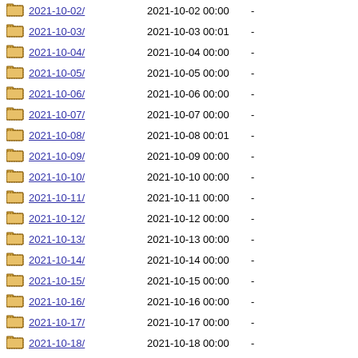2021-10-02/  2021-10-02 00:00  -
2021-10-03/  2021-10-03 00:01  -
2021-10-04/  2021-10-04 00:00  -
2021-10-05/  2021-10-05 00:00  -
2021-10-06/  2021-10-06 00:00  -
2021-10-07/  2021-10-07 00:00  -
2021-10-08/  2021-10-08 00:01  -
2021-10-09/  2021-10-09 00:00  -
2021-10-10/  2021-10-10 00:00  -
2021-10-11/  2021-10-11 00:00  -
2021-10-12/  2021-10-12 00:00  -
2021-10-13/  2021-10-13 00:00  -
2021-10-14/  2021-10-14 00:00  -
2021-10-15/  2021-10-15 00:00  -
2021-10-16/  2021-10-16 00:00  -
2021-10-17/  2021-10-17 00:00  -
2021-10-18/  2021-10-18 00:00  -